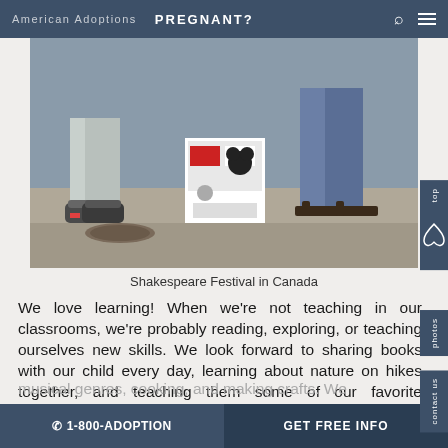American Adoptions   PREGNANT?
[Figure (photo): Photo showing two people's feet and legs standing on a sidewalk outdoors, with a colorful box/machine visible between them. One person wears sneakers, the other wears sandals with jeans.]
Shakespeare Festival in Canada
We love learning! When we're not teaching in our classrooms, we're probably reading, exploring, or teaching ourselves new skills. We look forward to sharing books with our child every day, learning about nature on hikes together, and teaching them some of our favorite pastimes, like playing piano and guitar, computer coding, appreciating a variety of musical genres, cooking, and making crafts. We
📞 1-800-ADOPTION    GET FREE INFO